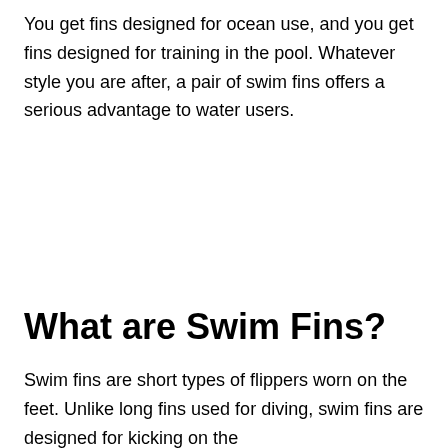You get fins designed for ocean use, and you get fins designed for training in the pool. Whatever style you are after, a pair of swim fins offers a serious advantage to water users.
What are Swim Fins?
Swim fins are short types of flippers worn on the feet. Unlike long fins used for diving, swim fins are designed for kicking on the